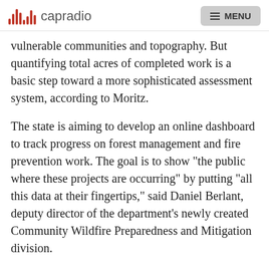capradio  MENU
vulnerable communities and topography. But quantifying total acres of completed work is a basic step toward a more sophisticated assessment system, according to Moritz.
The state is aiming to develop an online dashboard to track progress on forest management and fire prevention work. The goal is to show "the public where these projects are occurring" by putting "all this data at their fingertips," said Daniel Berlant, deputy director of the department's newly created Community Wildfire Preparedness and Mitigation division.
The Newsom administration has come under criticism in the past for overstating the state's